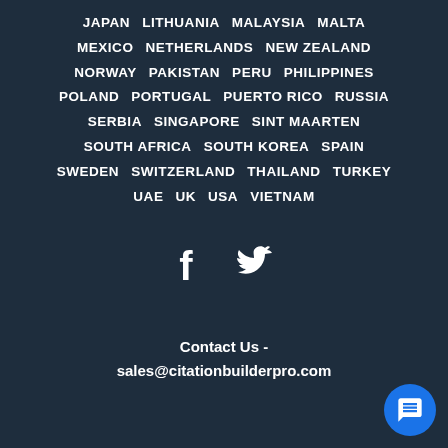JAPAN  LITHUANIA  MALAYSIA  MALTA  MEXICO  NETHERLANDS  NEW ZEALAND  NORWAY  PAKISTAN  PERU  PHILIPPINES  POLAND  PORTUGAL  PUERTO RICO  RUSSIA  SERBIA  SINGAPORE  SINT MAARTEN  SOUTH AFRICA  SOUTH KOREA  SPAIN  SWEDEN  SWITZERLAND  THAILAND  TURKEY  UAE  UK  USA  VIETNAM
[Figure (infographic): Social media icons: Facebook (f) and Twitter (bird) in white on dark background]
Contact Us - sales@citationbuilderpro.com